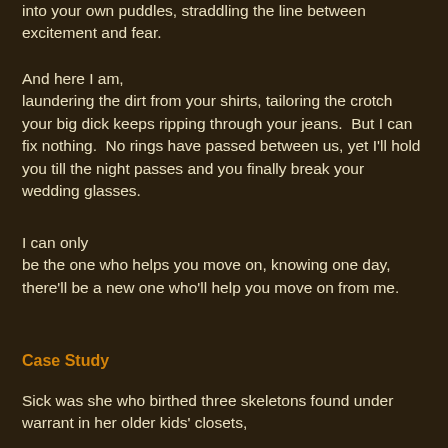into your own puddles, straddling the line between excitement and fear.
And here I am,
laundering the dirt from your shirts, tailoring the crotch your big dick keeps ripping through your jeans.  But I can fix nothing.  No rings have passed between us, yet I'll hold you till the night passes and you finally break your wedding glasses.
I can only
be the one who helps you move on, knowing one day, there'll be a new one who'll help you move on from me.
Case Study
Sick was she who birthed three skeletons found under warrant in her older kids' closets,